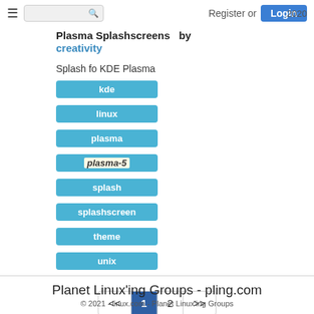☰  [search]  Register or Login  2020
Plasma Splashscreens by creativity
Splash fo KDE Plasma
kde
linux
plasma
plasma-5
splash
splashscreen
theme
unix
<< 1 2 >>
Planet Linux'ing Groups - pling.com
© 2021 - linux.com - Planet Linux'ing Groups